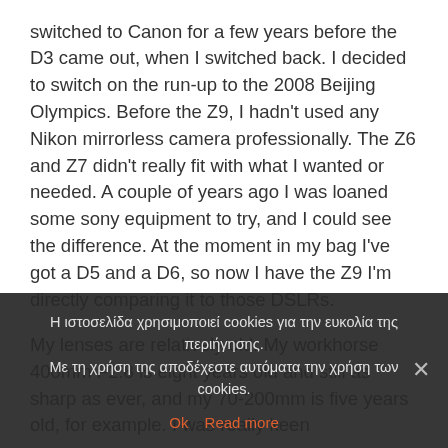switched to Canon for a few years before the D3 came out, when I switched back. I decided to switch on the run-up to the 2008 Beijing Olympics. Before the Z9, I hadn't used any Nikon mirrorless camera professionally. The Z6 and Z7 didn't really fit with what I wanted or needed. A couple of years ago I was loaned some sony equipment to try, and I could see the difference. At the moment in my bag I've got a D5 and a D6, so now I have the Z9 I'm directly comparing it to those DSLRs.

My lenses are relatively old. My workhorse 400mm F2.8 is eight years old and still as sharp as ever, and my 70-200mm is five years old, for example. I was really keen
Η ιστοσελίδα χρησιμοποιεί cookies για την ευκολία της περιήγησης. Με τη χρήση της αποδέχεστε αυτόματα την χρήση των cookies. Ok Read more